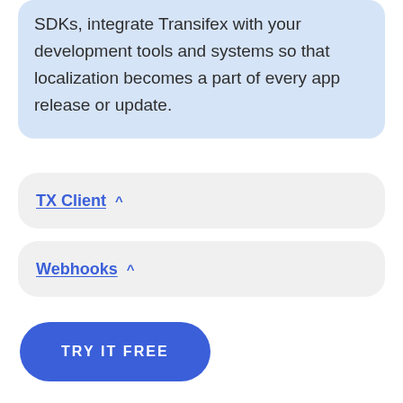SDKs, integrate Transifex with your development tools and systems so that localization becomes a part of every app release or update.
TX Client ^
Webhooks ^
TRY IT FREE